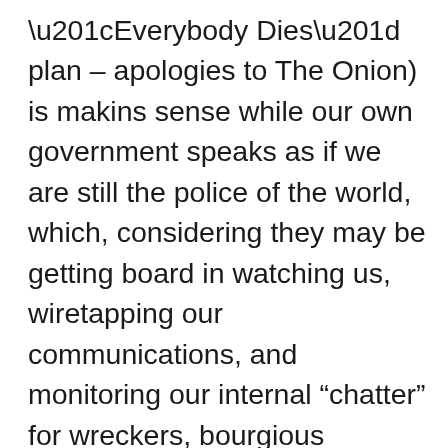“Everybody Dies” plan – apologies to The Onion) is makins sense while our own government speaks as if we are still the police of the world, which, considering they may be getting board in watching us, wiretapping our communications, and monitoring our internal “chatter” for wreckers, bourgious reactionaries, and twerkers intent on overthrowing the corporations, the government, or which ever comes first. This September 11, I woke up to the usual news. The view of a steamy and muggy September day unlike the clear